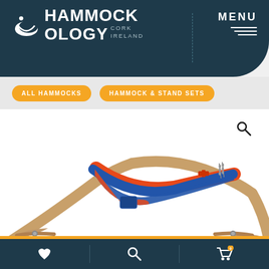[Figure (logo): Hammockology logo with hammock icon and text HAMMOCK OLOGY, Cork Ireland, on dark teal rounded header background]
MENU
ALL HAMMOCKS
HAMMOCK & STAND SETS
[Figure (photo): Blue and orange hammock on a curved wooden stand, photographed on white background]
Heart icon | Search icon | Cart icon